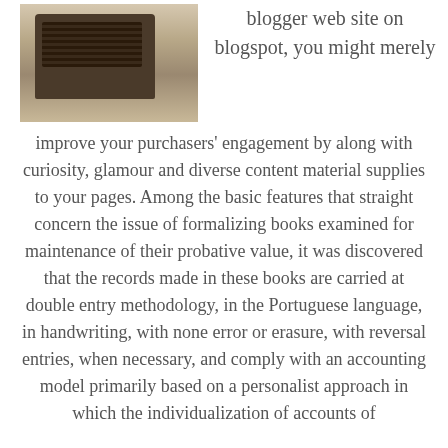[Figure (photo): Sepia-toned photograph of a vintage mechanical adding machine/cash register on a wooden surface, positioned in the upper left of the page.]
blogger web site on blogspot, you might merely improve your purchasers’ engagement by along with curiosity, glamour and diverse content material supplies to your pages. Among the basic features that straight concern the issue of formalizing books examined for maintenance of their probative value, it was discovered that the records made in these books are carried at double entry methodology, in the Portuguese language, in handwriting, with none error or erasure, with reversal entries, when necessary, and comply with an accounting model primarily based on a personalist approach in which the individualization of accounts of